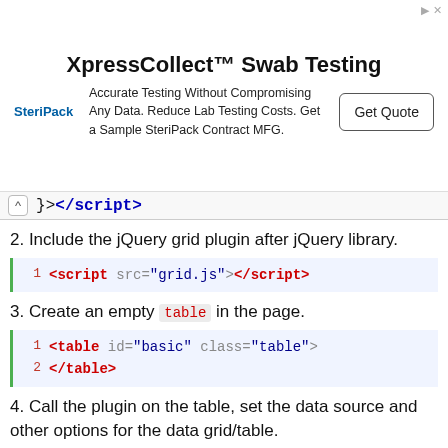[Figure (screenshot): Advertisement banner for XpressCollect Swab Testing by SteriPack. Headline: XpressCollect™ Swab Testing. Body: Accurate Testing Without Compromising Any Data. Reduce Lab Testing Costs. Get a Sample SteriPack Contract MFG. Button: Get Quote.]
><\/script>
2. Include the jQuery grid plugin after jQuery library.
1 | <script src="grid.js"><\/script>
3. Create an empty table in the page.
1 | <table id="basic" class="table">
2 | <\/table>
4. Call the plugin on the table, set the data source and other options for the data grid/table.
01 | <script>
02 | $(document).ready(function() {
03 | $('#basic').grid({
04 |     url:'basic.json',
05 |     autoload:true